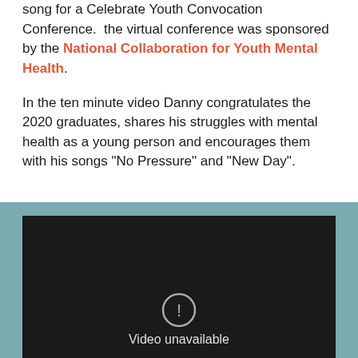song for a Celebrate Youth Convocation Conference.  the virtual conference was sponsored by the National Collaboration for Youth Mental Health.
In the ten minute video Danny congratulates the 2020 graduates, shares his struggles with mental health as a young person and encourages them with his songs “No Pressure” and “New Day”.
[Figure (screenshot): Embedded video player showing a dark/black screen with a 'Video unavailable' message and warning icon at the bottom center.]